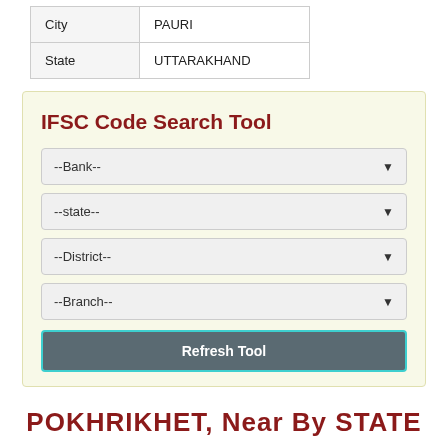| City | PAURI |
| State | UTTARAKHAND |
IFSC Code Search Tool
--Bank--
--state--
--District--
--Branch--
Refresh Tool
POKHRIKHET Near By STATE